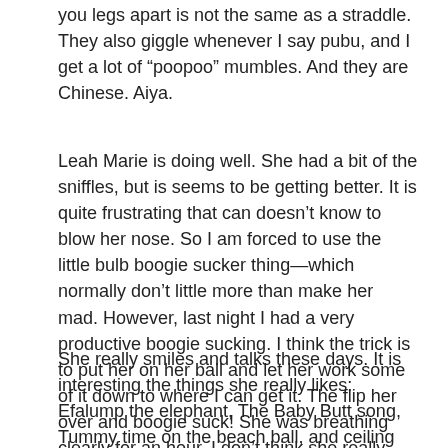you legs apart is not the same as a straddle. They also giggle whenever I say pubu, and I get a lot of “poopoo” mumbles. And they are Chinese. Aiya.
Leah Marie is doing well. She had a bit of the sniffles, but is seems to be getting better. It is quite frustrating that can doesn’t know to blow her nose. So I am forced to use the little bulb boogie sucker thing—which normally don’t little more than make her mad. However, last night I had a very productive boogie sucking. I think the trick is to put her on her ball and let her work some of it down to where I can get it. The flip her over and boogie suck! She was breathing clearly for an hour. I don’t think she really cared, but I felt accomplished.
She really smiles and talks these days. It is interesting the things she really likes: Efalump the elephant, The Baby Butt song, Tummy time on the beach ball, and ceiling monsters. These things have been known to snap her out of grumpy